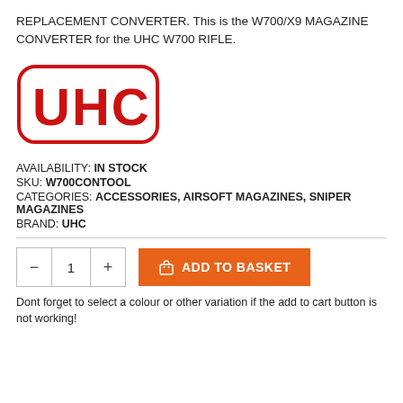REPLACEMENT CONVERTER. This is the W700/X9 MAGAZINE CONVERTER for the UHC W700 RIFLE.
[Figure (logo): UHC logo — red bold letters 'UHC' inside a rounded rectangle border in red on white background]
AVAILABILITY: IN STOCK
SKU: W700CONTOOL
CATEGORIES: ACCESSORIES, AIRSOFT MAGAZINES, SNIPER MAGAZINES
BRAND: UHC
— 1 + ADD TO BASKET
Dont forget to select a colour or other variation if the add to cart button is not working!